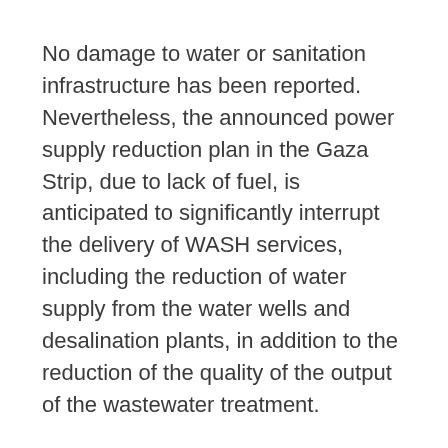No damage to water or sanitation infrastructure has been reported. Nevertheless, the announced power supply reduction plan in the Gaza Strip, due to lack of fuel, is anticipated to significantly interrupt the delivery of WASH services, including the reduction of water supply from the water wells and desalination plants, in addition to the reduction of the quality of the output of the wastewater treatment.
The replenishment of chemicals for the treatment of water in the desalination plant could be undermined because of lack of access and the entry of supplies to the Gaza Strip. Thus, WASH